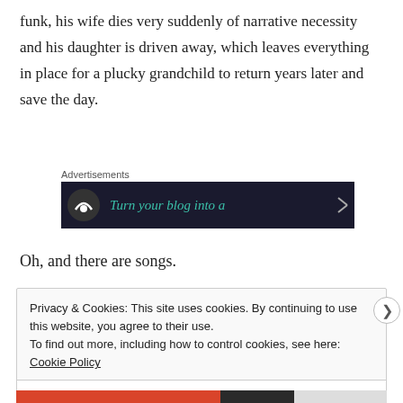funk, his wife dies very suddenly of narrative necessity and his daughter is driven away, which leaves everything in place for a plucky grandchild to return years later and save the day.
[Figure (other): Advertisements banner: dark background with teal text 'Turn your blog into a' and a circular logo icon on the left]
Oh, and there are songs.
Privacy & Cookies: This site uses cookies. By continuing to use this website, you agree to their use.
To find out more, including how to control cookies, see here: Cookie Policy
Close and accept